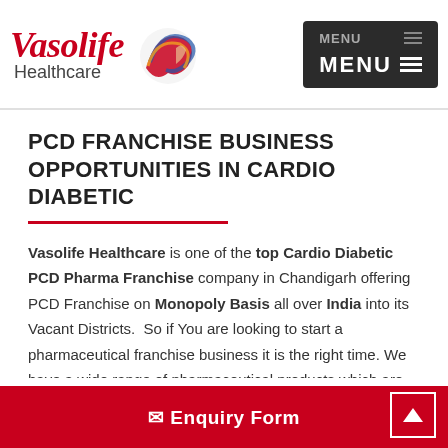[Figure (logo): Vasolife Healthcare logo with red italic text and a swirling heart/flame graphic]
PCD FRANCHISE BUSINESS OPPORTUNITIES IN CARDIO DIABETIC
Vasolife Healthcare is one of the top Cardio Diabetic PCD Pharma Franchise company in Chandigarh offering PCD Franchise on Monopoly Basis all over India into its Vacant Districts. So if You are looking to start a pharmaceutical franchise business it is the right time. We have a wide range of pharmaceutical products which are GMP / ISO certified and at par with WHO standards. We have our own Manufacturing unit in Baddi.
✉ Enquiry Form